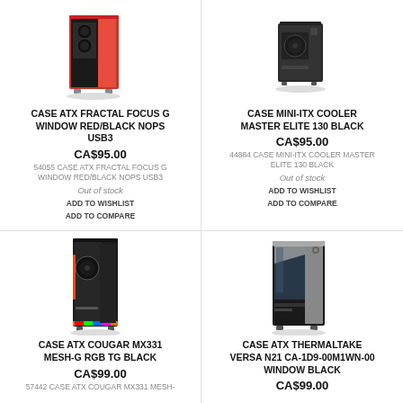[Figure (photo): Red and black ATX tower PC case (Fractal Design Focus G)]
CASE ATX FRACTAL FOCUS G WINDOW RED/BLACK NOPS USB3
CA$95.00
54055 CASE ATX FRACTAL FOCUS G WINDOW RED/BLACK NOPS USB3
Out of stock
ADD TO WISHLIST
ADD TO COMPARE
[Figure (photo): Black mini-ITX small form factor PC case (Cooler Master Elite 130)]
CASE MINI-ITX COOLER MASTER ELITE 130 BLACK
CA$95.00
44884 CASE MINI-ITX COOLER MASTER ELITE 130 BLACK
Out of stock
ADD TO WISHLIST
ADD TO COMPARE
[Figure (photo): Black ATX mid-tower PC case with RGB lighting (Cougar MX331 Mesh-G RGB TG)]
CASE ATX COUGAR MX331 MESH-G RGB TG BLACK
CA$99.00
57442 CASE ATX COUGAR MX331 MESH-
[Figure (photo): Black ATX tower PC case with silver accents and window (Thermaltake Versa N21)]
CASE ATX THERMALTAKE VERSA N21 CA-1D9-00M1WN-00 WINDOW BLACK
CA$99.00